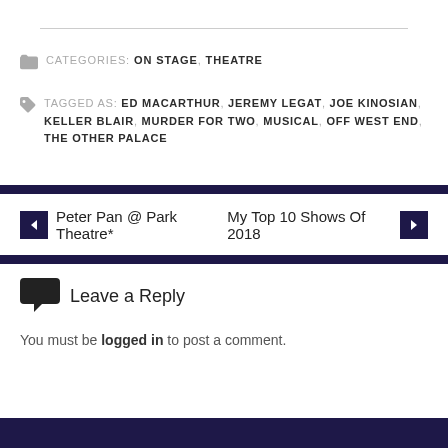CATEGORIES: ON STAGE, THEATRE
TAGGED AS: ED MACARTHUR, JEREMY LEGAT, JOE KINOSIAN, KELLER BLAIR, MURDER FOR TWO, MUSICAL, OFF WEST END, THE OTHER PALACE
← Peter Pan @ Park Theatre*
My Top 10 Shows Of 2018 →
Leave a Reply
You must be logged in to post a comment.